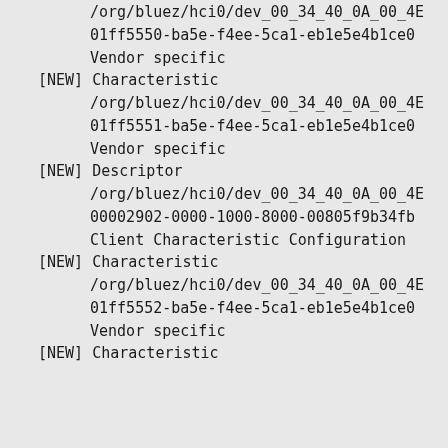/org/bluez/hci0/dev_00_34_40_0A_00_4E
01ff5550-ba5e-f4ee-5ca1-eb1e5e4b1ce0
Vendor specific
[NEW] Characteristic
/org/bluez/hci0/dev_00_34_40_0A_00_4E
01ff5551-ba5e-f4ee-5ca1-eb1e5e4b1ce0
Vendor specific
[NEW] Descriptor
/org/bluez/hci0/dev_00_34_40_0A_00_4E
00002902-0000-1000-8000-00805f9b34fb
Client Characteristic Configuration
[NEW] Characteristic
/org/bluez/hci0/dev_00_34_40_0A_00_4E
01ff5552-ba5e-f4ee-5ca1-eb1e5e4b1ce0
Vendor specific
[NEW] Characteristic